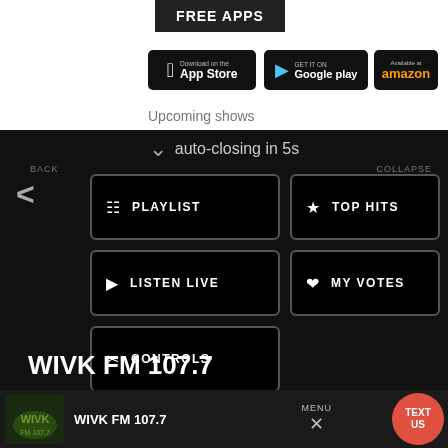[Figure (screenshot): FREE APPS banner with App Store, Google Play, and Amazon app download buttons]
Upcoming shows
auto-closing in 5s
BACK
PLAYLIST
TOP HITS
LISTEN LIVE
MY VOTES
CONTROLS
COLLAPSE
Data opt-out
WIVK FM 107.7
WIVK FM 107.7
MENU